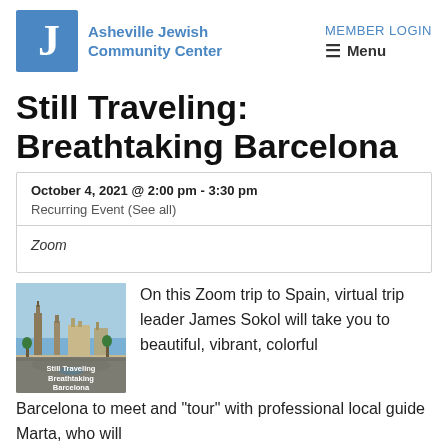Asheville Jewish Community Center | MEMBER LOGIN | Menu
Still Traveling: Breathtaking Barcelona
| October 4, 2021 @ 2:00 pm - 3:30 pm | Recurring Event (See all) |
| Zoom |  |
[Figure (photo): Photo of Barcelona cityscape with towers and plaza, with overlay text reading 'Still Traveling Breathtaking Barcelona']
On this Zoom trip to Spain, virtual trip leader James Sokol will take you to beautiful, vibrant, colorful Barcelona to meet and "tour" with professional local guide Marta, who will